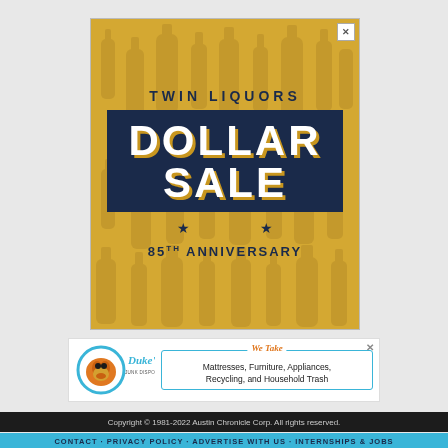[Figure (illustration): Twin Liquors Dollar Sale 85th Anniversary advertisement with gold/yellow background, silhouettes of bottles, and bold navy text]
[Figure (logo): Duke's Junk Disposal & Recycling advertisement with dog logo and 'We Take Mattresses, Furniture, Appliances, Recycling, and Household Trash']
Copyright © 1981-2022 Austin Chronicle Corp. All rights reserved.
Information is power. Support the free press, so we can support Austin.
SUPPORT THE CHRONICLE →